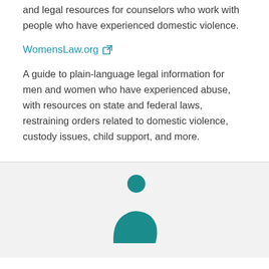and legal resources for counselors who work with people who have experienced domestic violence.
WomensLaw.org
A guide to plain-language legal information for men and women who have experienced abuse, with resources on state and federal laws, restraining orders related to domestic violence, custody issues, child support, and more.
[Figure (illustration): Teal icon of a person breastfeeding/holding a baby, centered on a light gray background.]